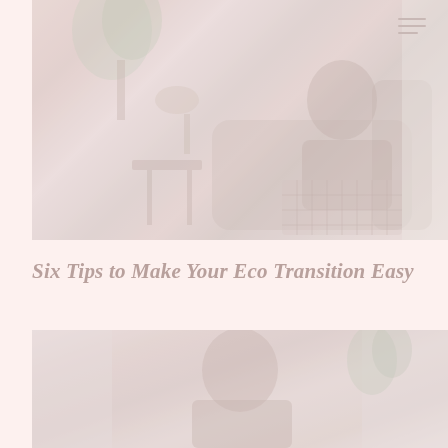[Figure (photo): Faded/washed-out lifestyle photo of a person sitting in an armchair reading or using a laptop, with a plant and side table visible in a bright interior room setting.]
Six Tips to Make Your Eco Transition Easy
[Figure (photo): Faded/washed-out lifestyle photo of a person, partially visible, in a light interior setting with curtains in the background.]